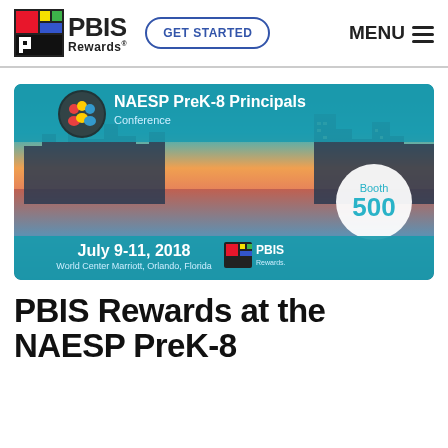[Figure (logo): PBIS Rewards logo with colorful square icon]
[Figure (screenshot): NAESP PreK-8 Principals Conference banner showing Orlando skyline at sunset, July 9-11 2018, World Center Marriott, Orlando Florida, Booth 500, PBIS Rewards logo]
PBIS Rewards at the NAESP PreK-8